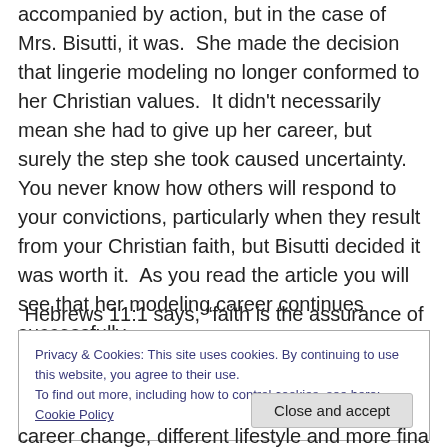accompanied by action, but in the case of Mrs. Bisutti, it was.  She made the decision that lingerie modeling no longer conformed to her Christian values.  It didn't necessarily mean she had to give up her career, but surely the step she took caused uncertainty.  You never know how others will respond to your convictions, particularly when they result from your Christian faith, but Bisutti decided it was worth it.  As you read the article you will see that her modeling career continues successfully.
Hebrews 11:1 says, “faith is the assurance of
Privacy & Cookies: This site uses cookies. By continuing to use this website, you agree to their use.
To find out more, including how to control cookies, see here: Cookie Policy
Close and accept
career change, different lifestyle and more financial